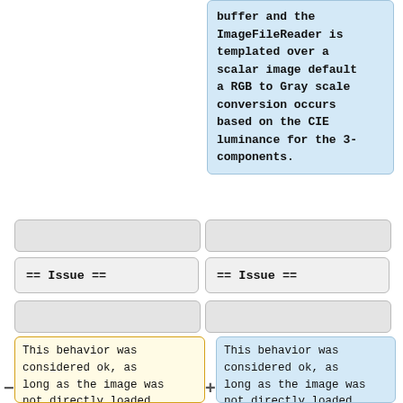buffer and the ImageFileReader is templated over a scalar image default a RGB to Gray scale conversion occurs based on the CIE luminance for the 3-components.
[Figure (screenshot): Gray empty UI bar, left column]
[Figure (screenshot): Gray empty UI bar, right column]
== Issue ==
== Issue ==
[Figure (screenshot): Gray empty UI bar, left column second row]
[Figure (screenshot): Gray empty UI bar, right column second row]
This behavior was considered ok, as long as the image was not directly loaded in viz application such as Slicer, where suddenly the image
This behavior was considered ok, as long as the image was not directly loaded in viz application such as Slicer, where unexpectedly the